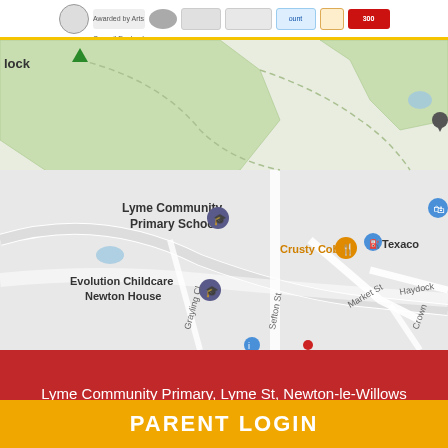[Figure (screenshot): Header logos bar with multiple award and accreditation badges including Arts Council England, Silver Award, and other school accreditation logos]
[Figure (map): Google Maps screenshot showing the area around Lyme Community Primary School in Newton-le-Willows. Visible landmarks include Lyme Community Primary School, Evolution Childcare Newton House, Crusty Cob restaurant, Texaco petrol station, Vista Value. Streets visible include Sefton St, Market St, Haydock, Grayling Cl. Green park/field areas visible in upper portion.]
Lyme Community Primary, Lyme St, Newton-le-Willows WA12 9HD
PARENT LOGIN